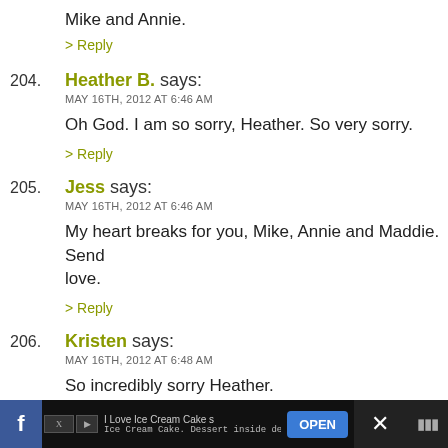Mike and Annie.
> Reply
204. Heather B. says: MAY 16TH, 2012 AT 6:46 AM — Oh God. I am so sorry, Heather. So very sorry. > Reply
205. Jess says: MAY 16TH, 2012 AT 6:46 AM — My heart breaks for you, Mike, Annie and Maddie. Send love. > Reply
206. Kristen says: MAY 16TH, 2012 AT 6:48 AM — So incredibly sorry Heather.
[Figure (screenshot): Advertisement bar at the bottom: 'I Love Ice Cream Cakes - Ice Cream Cake. Dessert inside dessert.' with an OPEN button]